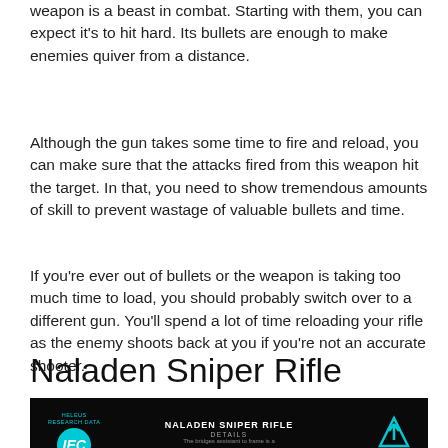weapon is a beast in combat. Starting with them, you can expect it's to hit hard. Its bullets are enough to make enemies quiver from a distance.
Although the gun takes some time to fire and reload, you can make sure that the attacks fired from this weapon hit the target. In that, you need to show tremendous amounts of skill to prevent wastage of valuable bullets and time.
If you're ever out of bullets or the weapon is taking too much time to load, you should probably switch over to a different gun. You'll spend a lot of time reloading your rifle as the enemy shoots back at you if you're not an accurate shooter.
Naladen Sniper Rifle
[Figure (screenshot): Screenshot of a game UI showing 'NALADEN SNIPER RIFLE' details screen with a dark background, circular logo labeled IEC 527, and a cyan upward arrow icon on the right.]